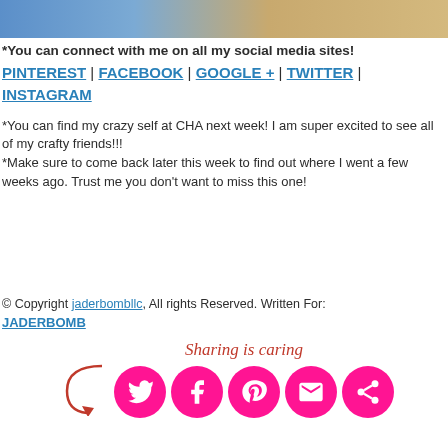[Figure (photo): Top photo strip showing people in casual clothing]
*You can connect with me on all my social media sites!
PINTEREST | FACEBOOK | GOOGLE + | TWITTER | INSTAGRAM
*You can find my crazy self at CHA next week! I am super excited to see all of my crafty friends!!!
*Make sure to come back later this week to find out where I went a few weeks ago. Trust me you don't want to miss this one!
© Copyright jaderbombllc, All rights Reserved. Written For: JADERBOMB
[Figure (infographic): Sharing is caring banner with social media icon circles (Twitter, Facebook, Pinterest, Email, Share) in hot pink]